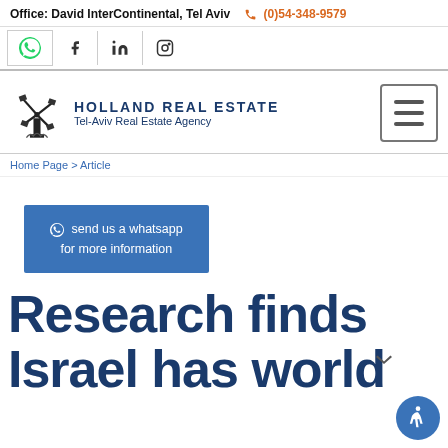Office: David InterContinental, Tel Aviv  (0)54-348-9579
[Figure (logo): Holland Real Estate Tel-Aviv Real Estate Agency logo with windmill graphic]
Home Page > Article
send us a whatsapp for more information
Research finds Israel has world's